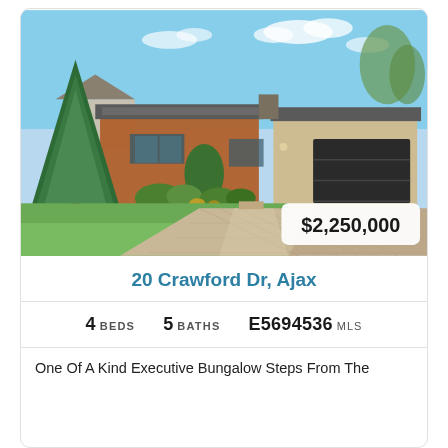[Figure (photo): Exterior photo of a brick executive bungalow with attached double garage, large paved driveway, mature trees and landscaping. Price badge showing $2,250,000 overlaid on lower right of image.]
20 Crawford Dr, Ajax
4 BEDS   5 BATHS   E5694536 MLS
One Of A Kind Executive Bungalow Steps From The